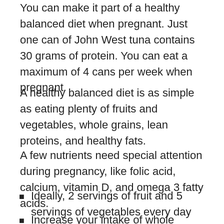You can make it part of a healthy balanced diet when pregnant. Just one can of John West tuna contains 30 grams of protein. You can eat a maximum of 4 cans per week when pregnant.
A healthy balanced diet is as simple as eating plenty of fruits and vegetables, whole grains, lean proteins, and healthy fats.
A few nutrients need special attention during pregnancy, like folic acid, calcium, vitamin D, and omega 3 fatty acids.
Ideally, 2 servings of fruit and 5 servings of vegetables every day
Increase your intake of whole grains and cereal